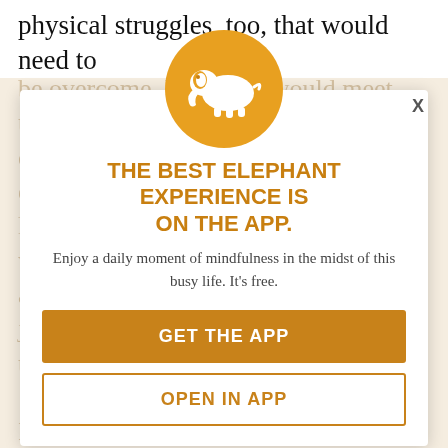physical struggles, too, that would need to be overcome. Not that I would meet those challenges head-on. And that I could still throw in a couple of emotional (and untrained for) humanitarian runs for good measure. I would absolutely never have animals, and preferably nothing that would jeopardize the community in my through any of pressure. I would never forget my future house would be full of light. That I would also be more social and that I could
[Figure (logo): White elephant icon on orange circle background]
THE BEST ELEPHANT EXPERIENCE IS ON THE APP.
Enjoy a daily moment of mindfulness in the midst of this busy life. It's free.
GET THE APP
OPEN IN APP